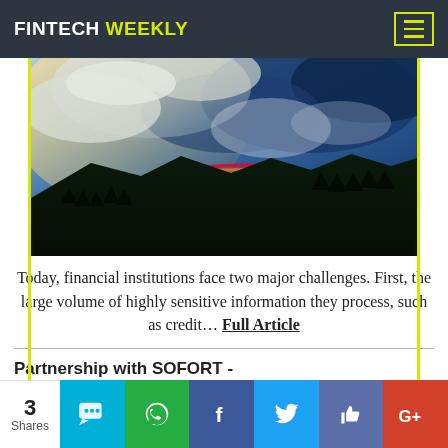FINTECH WEEKLY
[Figure (photo): Dramatic sky with rainbow over dark mountains and trees, blue and white clouds]
Today, financial institutions face two major challenges. First, the large volume of highly sensitive information they process, such as credit… Full Article
Partnership with SOFORT -